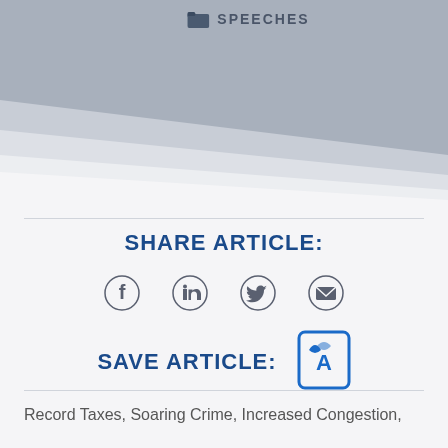SPEECHES
SHARE ARTICLE:
[Figure (other): Social share icons: Facebook, LinkedIn, Twitter, Email]
SAVE ARTICLE:
[Figure (other): PDF save icon]
Record Taxes, Soaring Crime, Increased Congestion,